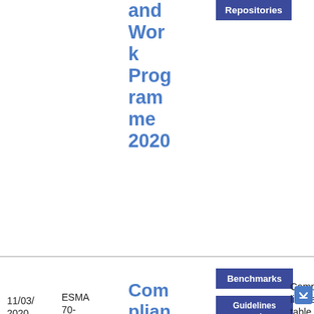and Work Programme 2020
Repositories
| Date | Reference | Title | Tags | Compliance table | PDF |
| --- | --- | --- | --- | --- | --- |
| 11/03/2020 | ESMA 70-156-1434 | Compliance table for Guidelines on non-significant benchmarks | Benchmarks, Guidelines and Technical standards | Compliance table | PDF 9.58 KB 12 |